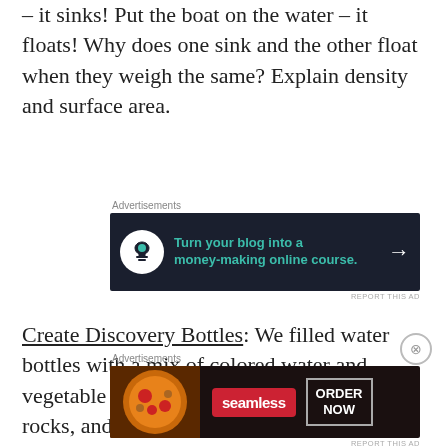– it sinks! Put the boat on the water – it floats! Why does one sink and the other float when they weigh the same? Explain density and surface area.
[Figure (screenshot): Advertisement banner with dark background: 'Turn your blog into a money-making online course.' with arrow, from Teachable]
Create Discovery Bottles: We filled water bottles with a mix of colored water and vegetable oil, then added some sand, small rocks, and small
[Figure (screenshot): Advertisement banner for Seamless food delivery with pizza image, 'seamless' logo in red, and 'ORDER NOW' button]